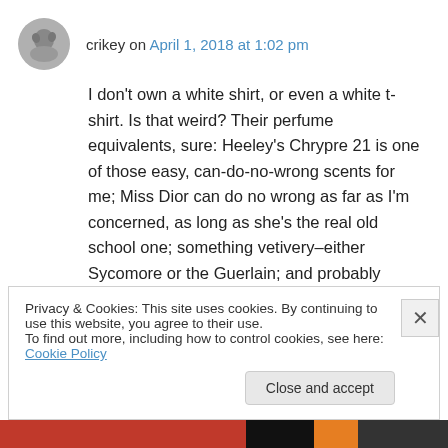crikey on April 1, 2018 at 1:02 pm
I don’t own a white shirt, or even a white t-shirt. Is that weird? Their perfume equivalents, sure: Heeley’s Chrypre 21 is one of those easy, can-do-no-wrong scents for me; Miss Dior can do no wrong as far as I’m concerned, as long as she’s the real old school one; something vetivery–either Sycomore or the Guerlain; and probably L’orpheline, which wears incredibly easily on me.
Privacy & Cookies: This site uses cookies. By continuing to use this website, you agree to their use.
To find out more, including how to control cookies, see here: Cookie Policy
Close and accept